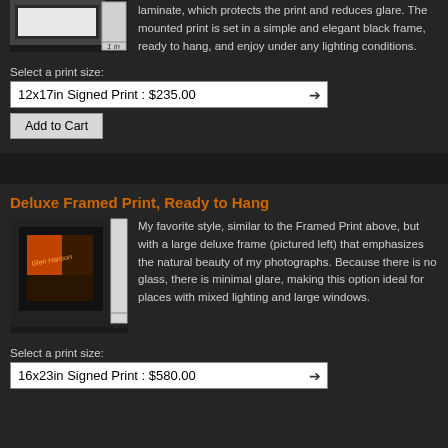[Figure (photo): Close-up photo of a framed print showing black frame edge with '1 in' label]
laminate, which protects the print and reduces glare. The mounted print is set in a simple and elegant black frame, ready to hang, and enjoy under any lighting conditions.
Select a print size:
12x17in Signed Print : $235.00
Add to Cart
Deluxe Framed Print, Ready to Hang
[Figure (photo): Photo of a deluxe framed print showing orange and dark photograph with wide black frame and '1 in' label]
My favorite style, similar to the Framed Print above, but with a large deluxe frame (pictured left) that emphasizes the natural beauty of my photographs. Because there is no glass, there is minimal glare, making this option ideal for places with mixed lighting and large windows.
Select a print size:
16x23in Signed Print : $580.00